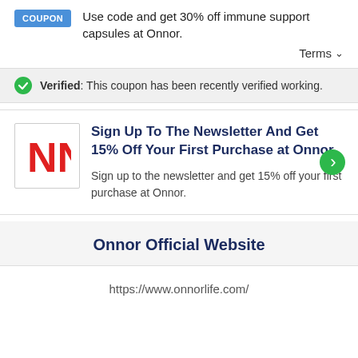Use code and get 30% off immune support capsules at Onnor.
Terms
Verified: This coupon has been recently verified working.
Sign Up To The Newsletter And Get 15% Off Your First Purchase at Onnor
Sign up to the newsletter and get 15% off your first purchase at Onnor.
Onnor Official Website
https://www.onnorlife.com/